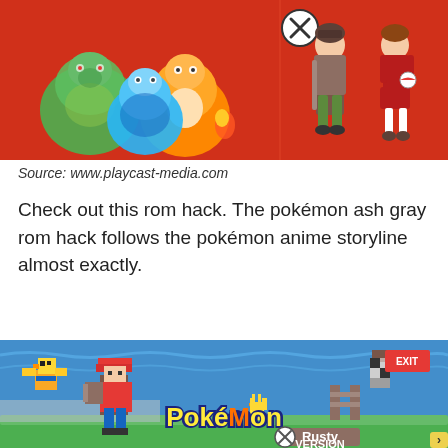[Figure (illustration): Promotional image of Pokemon characters on a red background: Bulbasaur, Charmander, Squirtle on left; two trainer characters on right. A circle-X icon is visible.]
Source: www.playcast-media.com
Check out this rom hack. The pokémon ash gray rom hack follows the pokémon anime storyline almost exactly.
[Figure (screenshot): Screenshot of Pokemon Rusty Version game showing pixel-art characters including a trainer in a red cap, a Pikachu-like Pokemon, and other characters, with the logo 'Pokémon Rusty Version' displayed prominently.]